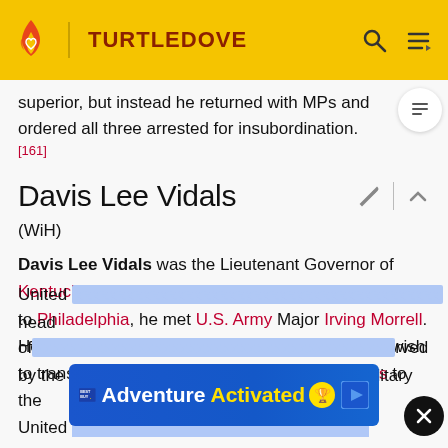TURTLEDOVE
superior, but instead he returned with MPs and ordered all three arrested for insubordination.[161]
Davis Lee Vidals
(WiH)
Davis Lee Vidals was the Lieutenant Governor of Kentucky during the Great War. In 1916, on a train ride to Philadelphia, he met U.S. Army Major Irving Morrell. He declared (in a maximum of words) his sincere wish to transfer Kentucky from the Confederate States to the United [States]. Bliss, head of [the army, was mo]rved by the sight of Morrell's traveling companion, military
[Figure (other): Best Buy advertisement banner: 'Adventure Activated' with yellow text and trophy icon]